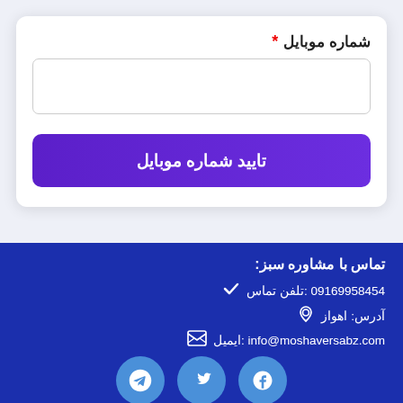شماره موبایل *
تایید شماره موبایل
تماس با مشاوره سبز:
تلفن تماس: 09169958454
آدرس: اهواز
ایمیل : info@moshaversabz.com
[Figure (other): Social media icons (email, twitter, telegram) at bottom]